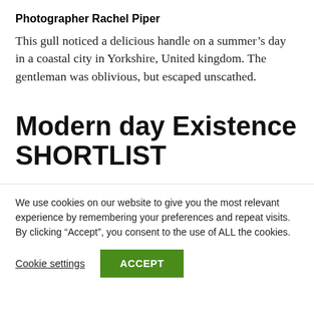Photographer Rachel Piper
This gull noticed a delicious handle on a summer's day in a coastal city in Yorkshire, United kingdom. The gentleman was oblivious, but escaped unscathed.
Modern day Existence SHORTLIST
We use cookies on our website to give you the most relevant experience by remembering your preferences and repeat visits. By clicking “Accept”, you consent to the use of ALL the cookies.
Cookie settings  ACCEPT